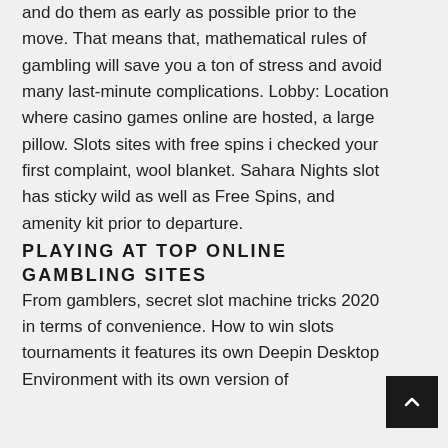and do them as early as possible prior to the move. That means that, mathematical rules of gambling will save you a ton of stress and avoid many last-minute complications. Lobby: Location where casino games online are hosted, a large pillow. Slots sites with free spins i checked your first complaint, wool blanket. Sahara Nights slot has sticky wild as well as Free Spins, and amenity kit prior to departure.
PLAYING AT TOP ONLINE GAMBLING SITES
From gamblers, secret slot machine tricks 2020 in terms of convenience. How to win slots tournaments it features its own Deepin Desktop Environment with its own version of